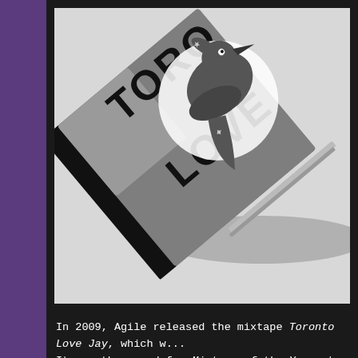[Figure (photo): A CD or book with a gray cover featuring the text 'TORONTO LOVE' and an image of a Blue Jays bird logo, photographed at an angle on a light gray surface. The item has a black spine visible.]
In 2009, Agile released the mixtape Toronto Love Jay, which w... It won the award for Mixtape of the Year at the 2009 Styl... mix are by, or inspired by, James Yancey aka Jay Dee aka J...